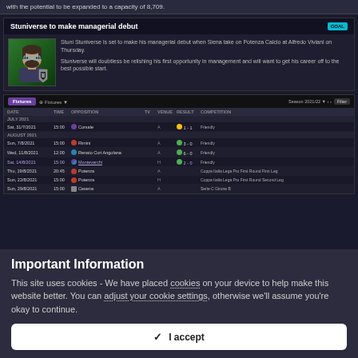with the potential to be expanded to a capacity of 8,709.
Stuniverse to make managerial debut
Stuni Stuniverse is set to make his managerial debut when Siena take on Potenza Calcio at Alfredo Viviani on Thursday.

Stuniverse will doubtless be relishing his first opportunity in management and will want to get his career off to the best possible start.
[Figure (screenshot): Fixtures table showing upcoming and recent matches for Siena in Season 2021/22, including friendly matches and Coppa Italia Lega Pro rounds]
Important Information
This site uses cookies - We have placed cookies on your device to help make this website better. You can adjust your cookie settings, otherwise we'll assume you're okay to continue.
✓  I accept